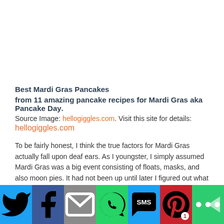Best Mardi Gras Pancakes
from 11 amazing pancake recipes for Mardi Gras aka Pancake Day. Source Image: hellogiggles.com. Visit this site for details: hellogiggles.com
To be fairly honest, I think the true factors for Mardi Gras actually fall upon deaf ears. As I youngster, I simply assumed Mardi Gras was a big event consisting of floats, masks, and also moon pies. It had not been up until later I figured out what one in fact had to do to gain those well-known grains (the horror).
[Figure (other): Social media sharing bar with Twitter, Facebook, Email, WhatsApp, SMS, Pinterest (with badge count 1), and More buttons]